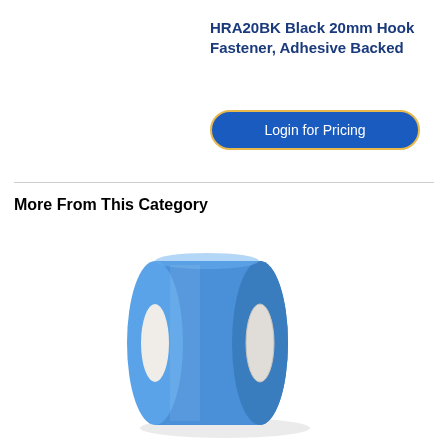HRA20BK Black 20mm Hook Fastener, Adhesive Backed
Login for Pricing
More From This Category
[Figure (photo): A roll of blue adhesive tape viewed from the side, showing the blue outer wrap and white inner core.]